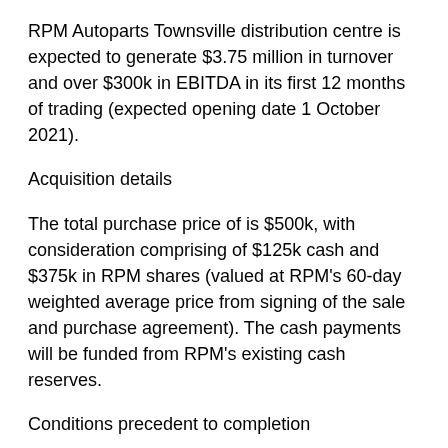RPM Autoparts Townsville distribution centre is expected to generate $3.75 million in turnover and over $300k in EBITDA in its first 12 months of trading (expected opening date 1 October 2021).
Acquisition details
The total purchase price of is $500k, with consideration comprising of $125k cash and $375k in RPM shares (valued at RPM's 60-day weighted average price from signing of the sale and purchase agreement). The cash payments will be funded from RPM's existing cash reserves.
Conditions precedent to completion
The sale and purchase agreements contain standard